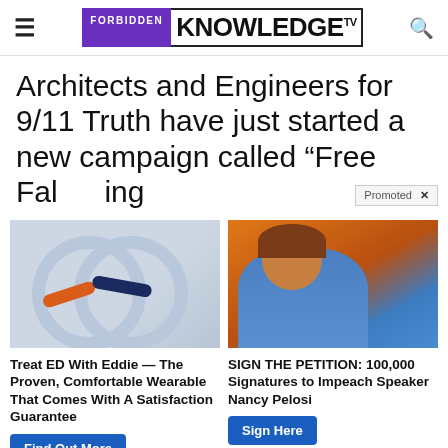FORBIDDEN KNOWLEDGE TV
Architects and Engineers for 9/11 Truth have just started a new campaign called “Free Fall…ing
[Figure (photo): Left ad: fitness wearable device (shackle-like rings with orange and navy bands). Right ad: woman (Nancy Pelosi) in blue jacket against orange background. Promoted x badge overlaid on title area.]
Treat ED With Eddie — The Proven, Comfortable Wearable That Comes With A Satisfaction Guarantee
Find Out More
SIGN THE PETITION: 100,000 Signatures to Impeach Speaker Nancy Pelosi
Sign Here